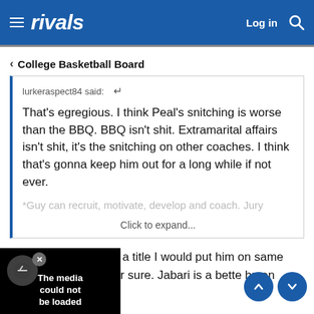rivals  Log in 🔍
< College Basketball Board
lurkeraspect84 said: ↺

That's egregious. I think Peal's snitching is worse than the BBQ. BBQ isn't shit. Extramarital affairs isn't shit, it's the snitching on other coaches. I think that's gonna keep him out for a long while if not ever.

*Guy can recruit, motivate, develop and coach. Jury

Click to expand...
If he leads Auburn to a title I would put him on same level. defensively four sure. Jabari is a bette hmen though.
[Figure (screenshot): Media error overlay on black background with X icon and text 'The media could not be loaded']